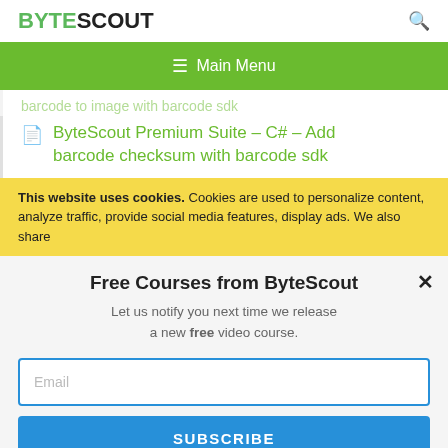BYTESCOUT
[Figure (screenshot): Green navigation bar with hamburger menu icon and 'Main Menu' text]
barcode to image with barcode sdk (faded/partially visible link)
ByteScout Premium Suite – C# – Add barcode checksum with barcode sdk
This website uses cookies. Cookies are used to personalize content, analyze traffic, provide social media features, display ads. We also share
Free Courses from ByteScout
Let us notify you next time we release a new free video course.
Email
SUBSCRIBE